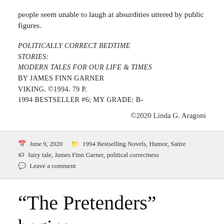people seem unable to laugh at absurdities uttered by public figures.
POLITICALLY CORRECT BEDTIME STORIES: MODERN TALES FOR OUR LIFE & TIMES BY JAMES FINN GARNER VIKING. ©1994. 79 P. 1994 BESTSELLER #6; MY GRADE: B-
©2020 Linda G. Aragoni
June 9, 2020   1994 Bestselling Novels, Humor, Satire  fairy tale, James Finn Garner, political correctness  Leave a comment
“The Pretenders” begins